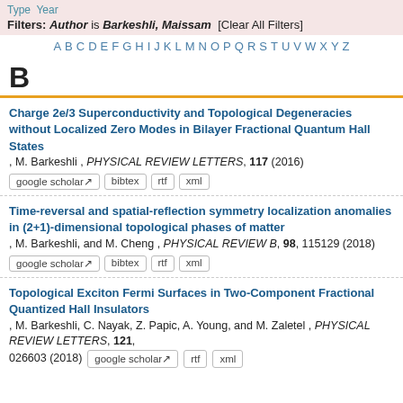Type Year
Filters: Author is Barkeshli, Maissam [Clear All Filters]
A B C D E F G H I J K L M N O P Q R S T U V W X Y Z
B
Charge 2e/3 Superconductivity and Topological Degeneracies without Localized Zero Modes in Bilayer Fractional Quantum Hall States, M. Barkeshli , PHYSICAL REVIEW LETTERS, 117 (2016)
google scholar bibtex rtf xml
Time-reversal and spatial-reflection symmetry localization anomalies in (2+1)-dimensional topological phases of matter, M. Barkeshli, and M. Cheng , PHYSICAL REVIEW B, 98, 115129 (2018)
google scholar bibtex rtf xml
Topological Exciton Fermi Surfaces in Two-Component Fractional Quantized Hall Insulators, M. Barkeshli, C. Nayak, Z. Papic, A. Young, and M. Zaletel , PHYSICAL REVIEW LETTERS, 121, 026603 (2018)
google scholar rtf xml